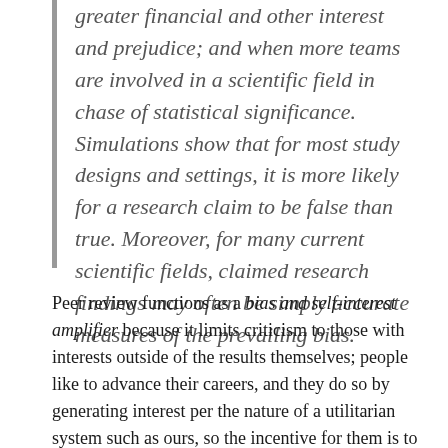greater financial and other interest and prejudice; and when more teams are involved in a scientific field in chase of statistical significance. Simulations show that for most study designs and settings, it is more likely for a research claim to be false than true. Moreover, for many current scientific fields, claimed research findings may often be simply accurate measures of the prevailing bias.
Peer review functions as a bias and self-interest amplifier because it limits criticism to those with interests outside of the results themselves; people like to advance their careers, and they do so by generating interest per the nature of a utilitarian system such as ours, so the incentive for them is to